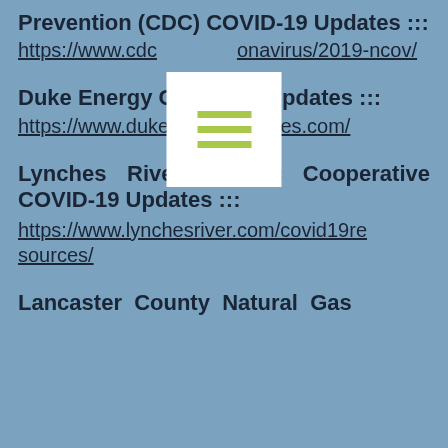Prevention (CDC) COVID-19 Updates :::
https://www.cdc.gov/coronavirus/2019-ncov/
Duke Energy COVID-19 Updates :::
https://www.dukeenergyupdates.com/
Lynches River Electric Cooperative COVID-19 Updates :::
https://www.lynchesriver.com/covid19resources/
Lancaster County Natural Gas